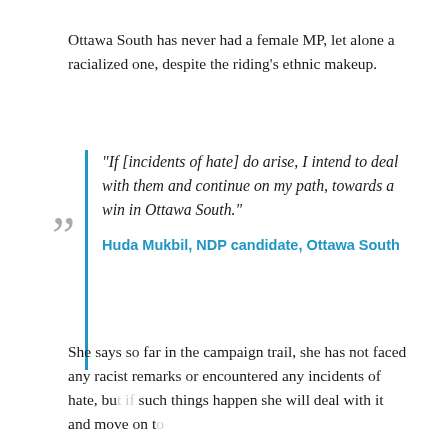Ottawa South has never had a female MP, let alone a racialized one, despite the riding's ethnic makeup.
“If [incidents of hate] do arise, I intend to deal with them and continue on my path, towards a win in Ottawa South.”
Huda Mukbil, NDP candidate, Ottawa South
She says so far in the campaign trail, she has not faced any racist remarks or encountered any incidents of hate, but if such things happen she will deal with it and move on to...